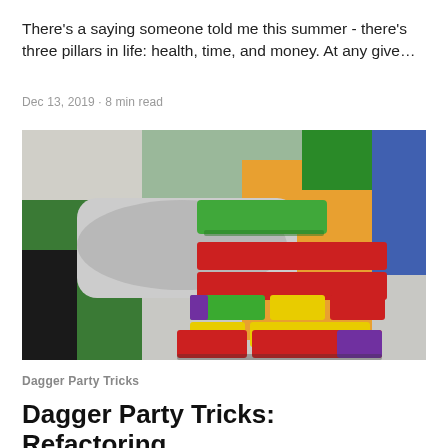There's a saying someone told me this summer - there's three pillars in life: health, time, and money. At any give…
Dec 13, 2019 · 8 min read
[Figure (photo): A child's hand placing a green block on top of a colorful stacked tower of Jenga-style wooden blocks in red, green, yellow, orange, and purple. Colorful foam blocks are visible in the background.]
Dagger Party Tricks
Dagger Party Tricks: Refactoring